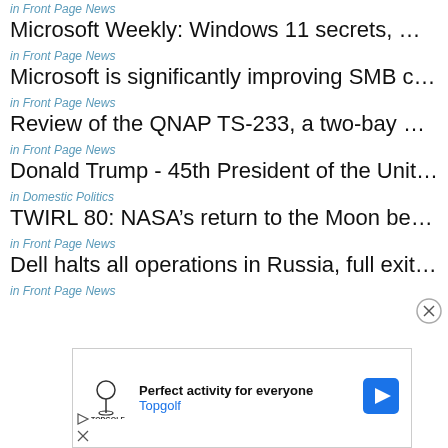in Front Page News
Microsoft Weekly: Windows 11 secrets, MFA exploits, an...
in Front Page News
Microsoft is significantly improving SMB compression i...
in Front Page News
Review of the QNAP TS-233, a two-bay NAS for modest ...
in Front Page News
Donald Trump - 45th President of the United States
in Domestic Politics
TWIRL 80: NASA’s return to the Moon begins this week...
in Front Page News
Dell halts all operations in Russia, full exit expected soon
in Front Page News
[Figure (other): Advertisement for Topgolf: 'Perfect activity for everyone' with Topgolf logo and a blue navigation arrow icon. Ad controls (play and close buttons) visible at bottom left.]